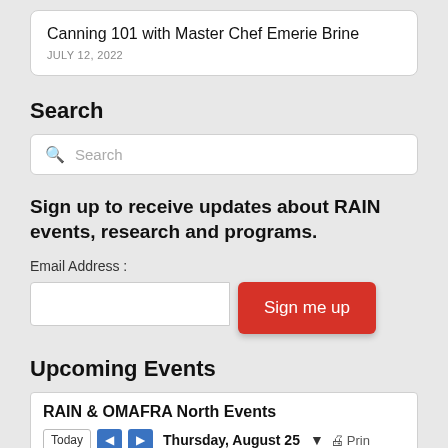Canning 101 with Master Chef Emerie Brine
JULY 12, 2022
Search
Search
Sign up to receive updates about RAIN events, research and programs.
Email Address :
Sign me up
Upcoming Events
RAIN & OMAFRA North Events
Today  Thursday, August 25  Prin